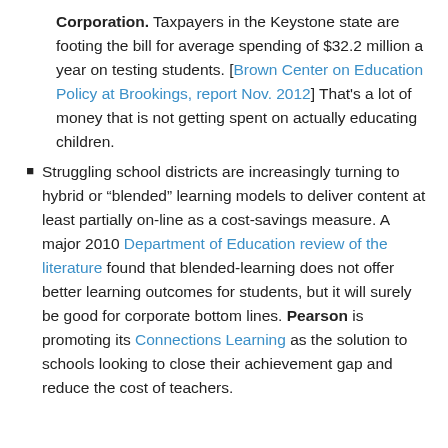Corporation. Taxpayers in the Keystone state are footing the bill for average spending of $32.2 million a year on testing students. [Brown Center on Education Policy at Brookings, report Nov. 2012] That's a lot of money that is not getting spent on actually educating children.
Struggling school districts are increasingly turning to hybrid or “blended” learning models to deliver content at least partially on-line as a cost-savings measure. A major 2010 Department of Education review of the literature found that blended-learning does not offer better learning outcomes for students, but it will surely be good for corporate bottom lines. Pearson is promoting its Connections Learning as the solution to schools looking to close their achievement gap and reduce the cost of teachers.